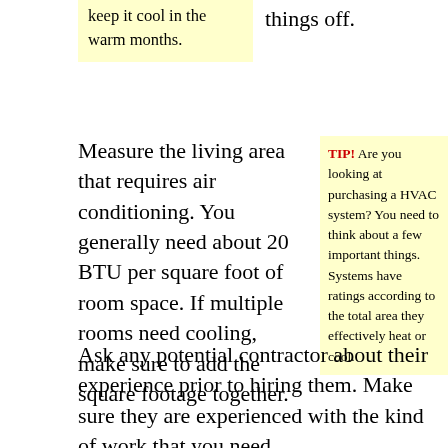keep it cool in the warm months.
things off.
Measure the living area that requires air conditioning. You generally need about 20 BTU per square foot of room space. If multiple rooms need cooling, make sure to add the square footage together.
TIP! Are you looking at purchasing a HVAC system? You need to think about a few important things. Systems have ratings according to the total area they effectively heat or cool.
Ask any potential contractor about their experience prior to hiring them. Make sure they are experienced with the kind of work that you need.